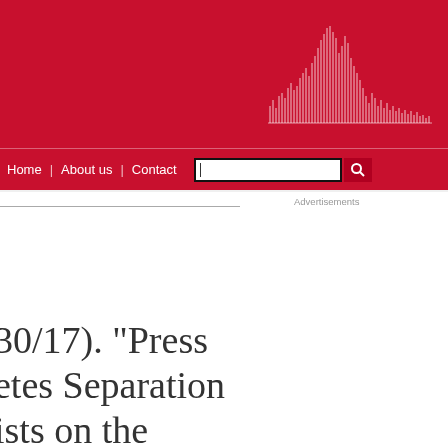Home | About us | Contact [search bar]
Advertisements
30/17). "Press etes Separation ists on the